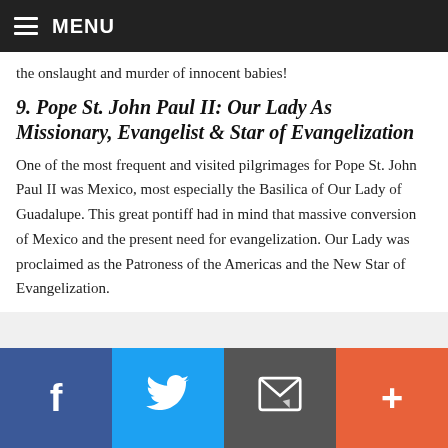MENU
the onslaught and murder of innocent babies!
9. Pope St. John Paul II: Our Lady As Missionary, Evangelist & Star of Evangelization
One of the most frequent and visited pilgrimages for Pope St. John Paul II was Mexico, most especially the Basilica of Our Lady of Guadalupe. This great pontiff had in mind that massive conversion of Mexico and the present need for evangelization. Our Lady was proclaimed as the Patroness of the Americas and the New Star of Evangelization.
f  [twitter]  [email]  +